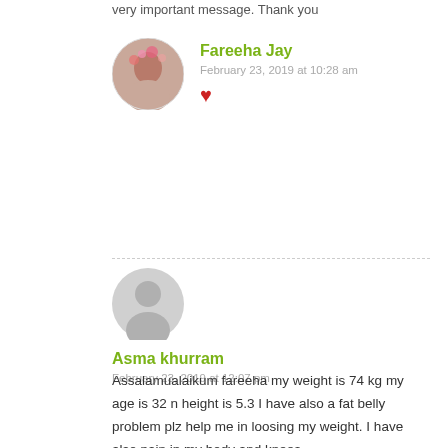very important message. Thank you
Fareeha Jay
February 23, 2019 at 10:28 am
[Figure (photo): Circular avatar of Fareeha Jay showing a woman with flowers]
❤
Asma khurram
February 23, 2019 at 12:07 pm
[Figure (illustration): Generic grey user avatar silhouette]
Assalamualaikum fareeha my weight is 74 kg my age is 32 n height is 5.3 I have also a fat belly problem plz help me in loosing my weight. I have also pain in my body and knees